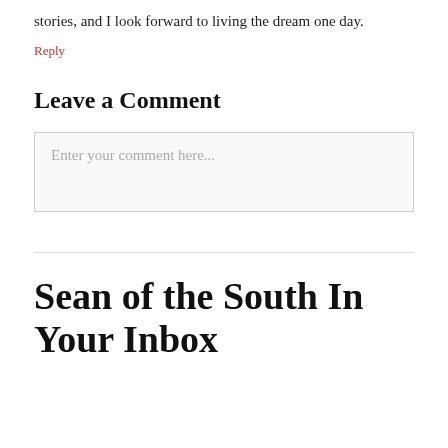stories, and I look forward to living the dream one day.
Reply
Leave a Comment
Enter your comment here...
Sean of the South In Your Inbox